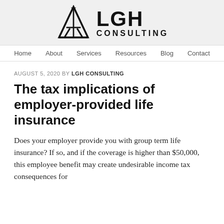[Figure (logo): LGH Consulting logo with a stylized triangle/A shape and star, with text 'LGH CONSULTING']
Home   About   Services   Resources   Blog   Contact
AUGUST 5, 2020 BY LGH CONSULTING
The tax implications of employer-provided life insurance
Does your employer provide you with group term life insurance? If so, and if the coverage is higher than $50,000, this employee benefit may create undesirable income tax consequences for